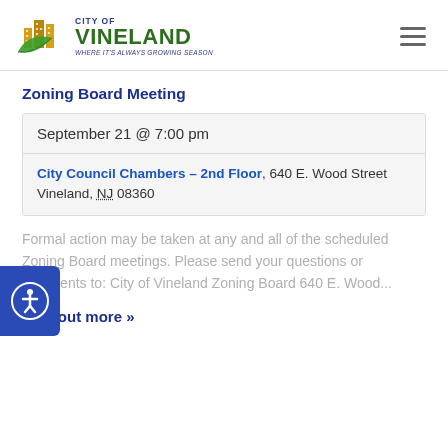City of Vineland — WHERE IT'S ALWAYS GROWING SEASON
Zoning Board Meeting
| September 21 @ 7:00 pm |
| City Council Chambers – 2nd Floor, 640 E. Wood Street
Vineland, NJ 08360 |
Formal action may be taken at any and all of the scheduled Zoning Board meetings. Please send your questions or comments to: City of Vineland Zoning Board 640 E. Wood...
Find out more »